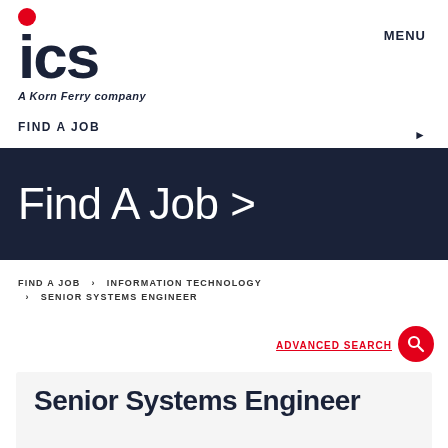[Figure (logo): ICS logo — red circle dot above large bold ICS text, tagline 'A Korn Ferry company' in italic below]
MENU
FIND A JOB
Find A Job >
FIND A JOB  >  INFORMATION TECHNOLOGY  >  SENIOR SYSTEMS ENGINEER
ADVANCED SEARCH
Senior Systems Engineer